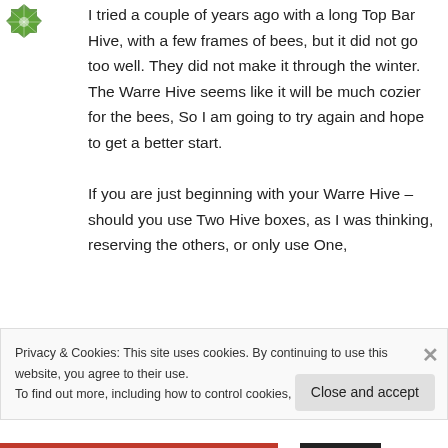[Figure (logo): Green hexagonal/snowflake logo in top-left corner]
I tried a couple of years ago with a long Top Bar Hive, with a few frames of bees, but it did not go too well. They did not make it through the winter. The Warre Hive seems like it will be much cozier for the bees, So I am going to try again and hope to get a better start.

If you are just beginning with your Warre Hive – should you use Two Hive boxes, as I was thinking, reserving the others, or only use One,
Privacy & Cookies: This site uses cookies. By continuing to use this website, you agree to their use.
To find out more, including how to control cookies, see here: Cookie Policy